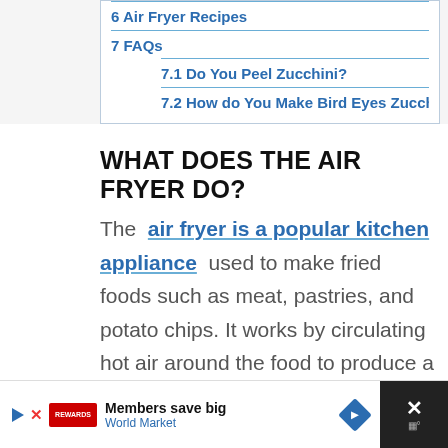6 Air Fryer Recipes
7 FAQs
7.1 Do You Peel Zucchini?
7.2 How do You Make Bird Eyes Zucchi
WHAT DOES THE AIR FRYER DO?
The air fryer is a popular kitchen appliance used to make fried foods such as meat, pastries, and potato chips. It works by circulating hot air around the food to produce a crunchy, and crisp exterior. Air fried foods, are a
Members save big  World Market